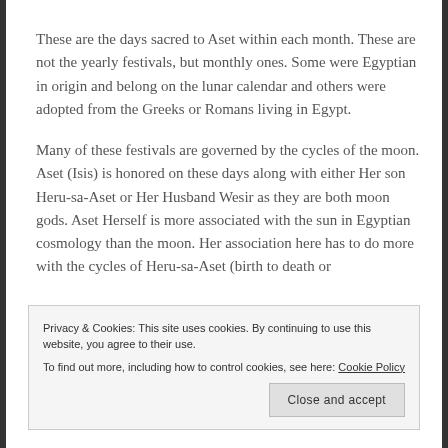These are the days sacred to Aset within each month. These are not the yearly festivals, but monthly ones. Some were Egyptian in origin and belong on the lunar calendar and others were adopted from the Greeks or Romans living in Egypt.
Many of these festivals are governed by the cycles of the moon. Aset (Isis) is honored on these days along with either Her son Heru-sa-Aset or Her Husband Wesir as they are both moon gods. Aset Herself is more associated with the sun in Egyptian cosmology than the moon. Her association here has to do more with the cycles of Heru-sa-Aset (birth to death or
Privacy & Cookies: This site uses cookies. By continuing to use this website, you agree to their use.
To find out more, including how to control cookies, see here: Cookie Policy
Close and accept